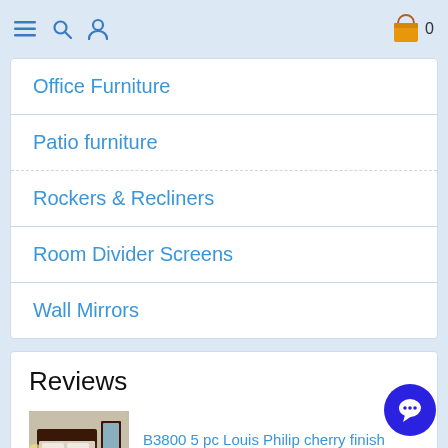Navigation bar with menu, search, user, and cart icons
Office Furniture
Patio furniture
Rockers & Recliners
Room Divider Screens
Wall Mirrors
Reviews
B3800 5 pc Louis Philip cherry finish wood sleigh queen bedroom set
[Figure (photo): Thumbnail photo of a dark wood queen bedroom set with a sleigh bed frame, dresser, and mirror against a light wall.]